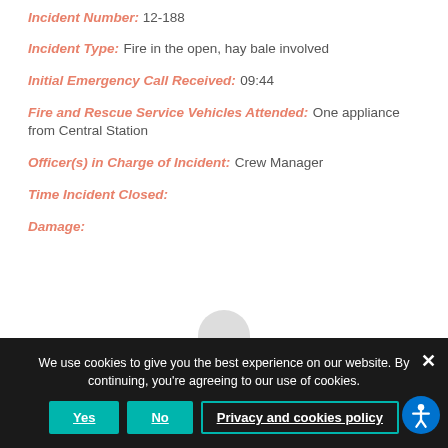Incident Number: 12-188
Incident Type: Fire in the open, hay bale involved
Initial Emergency Call Received: 09:44
Fire and Rescue Service Vehicles Attended: One appliance from Central Station
Officer(s) in Charge of Incident: Crew Manager
Time Incident Closed:
Damage:
We use cookies to give you the best experience on our website. By continuing, you're agreeing to our use of cookies.